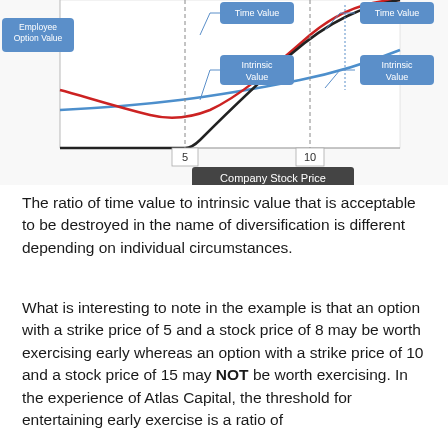[Figure (continuous-plot): Partial view of an employee option value chart showing curves for Time Value and Intrinsic Value plotted against Company Stock Price. X-axis labels show 5 and 10. Blue, red, and black curves visible with labeled callout boxes for 'Employee Option Value', 'Time Value', 'Intrinsic Value' appearing twice (at strike prices 5 and 10), and 'Company Stock Price' on x-axis.]
The ratio of time value to intrinsic value that is acceptable to be destroyed in the name of diversification is different depending on individual circumstances.
What is interesting to note in the example is that an option with a strike price of 5 and a stock price of 8 may be worth exercising early whereas an option with a strike price of 10 and a stock price of 15 may NOT be worth exercising. In the experience of Atlas Capital, the threshold for entertaining early exercise is a ratio of